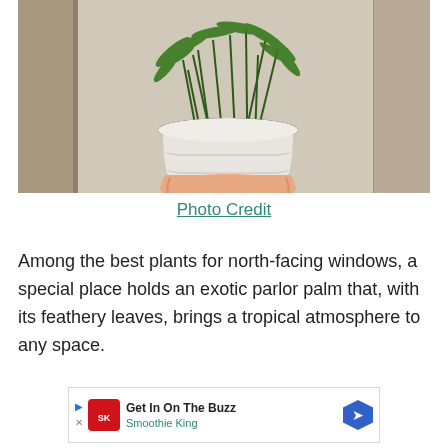[Figure (photo): A hand holding a white cylindrical pot containing a parlor palm plant with slender green stems and feathery leaves, against a wooden background.]
Photo Credit
Among the best plants for north-facing windows, a special place holds an exotic parlor palm that, with its feathery leaves, brings a tropical atmosphere to any space.
[Figure (infographic): Advertisement banner: Get In On The Buzz - Smoothie King]